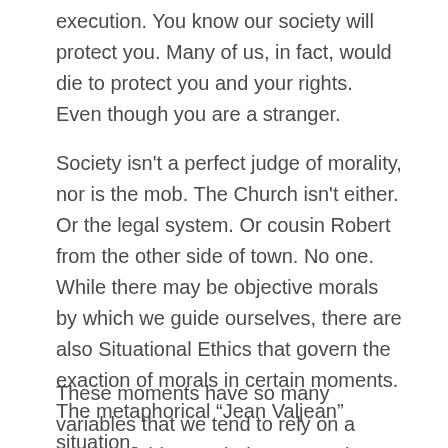execution. You know our society will protect you. Many of us, in fact, would die to protect you and your rights. Even though you are a stranger.
Society isn't a perfect judge of morality, nor is the mob. The Church isn't either. Or the legal system. Or cousin Robert from the other side of town. No one. While there may be objective morals by which we guide ourselves, there are also Situational Ethics that govern the exaction of morals in certain moments. The metaphorical “Jean Valjean” situation.
These moments have so many variables that we tend to rely on a couple of things to help us mortals solve them. Knowledge of all the information. A cooperation of minds. Referencing our moral principals in the form of laws or religious